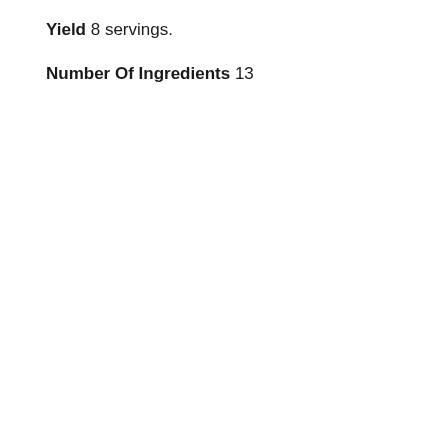Yield 8 servings.
Number Of Ingredients 13